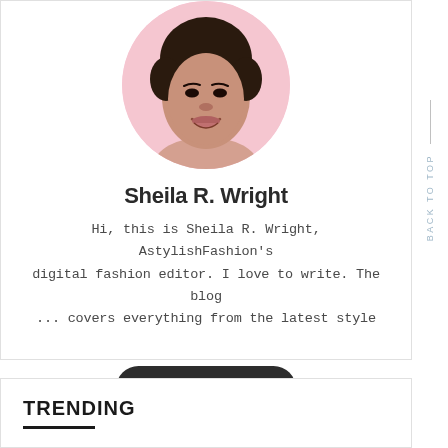[Figure (photo): Circular profile photo of Sheila R. Wright, a woman with dark curly hair, smiling, against a pink background]
Sheila R. Wright
Hi, this is Sheila R. Wright, AstylishFashion's digital fashion editor. I love to write. The blog ... covers everything from the latest style
Read More
TRENDING